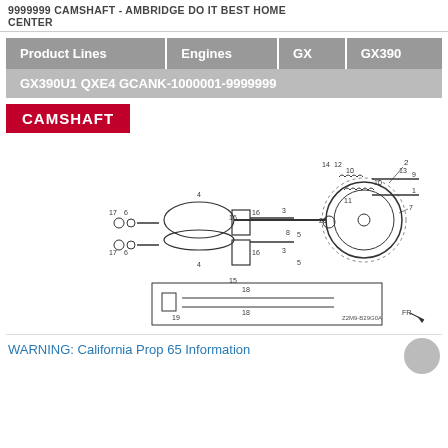9999999 CAMSHAFT - AMBRIDGE DO IT BEST HOME CENTER
| Product Lines | Engines | GX | GX390 |
| --- | --- | --- | --- |
| GX390U1 QXE4 GCANK-1000001-9999999 |  |  |  |
CAMSHAFT
[Figure (engineering-diagram): Exploded view diagram of GX390 camshaft assembly showing numbered parts including camshaft gear, valves, springs, retainers, and associated hardware. Parts numbered 1-20 with position callouts. Reference code Z2M9-B29G0A shown bottom right.]
WARNING: California Prop 65 Information